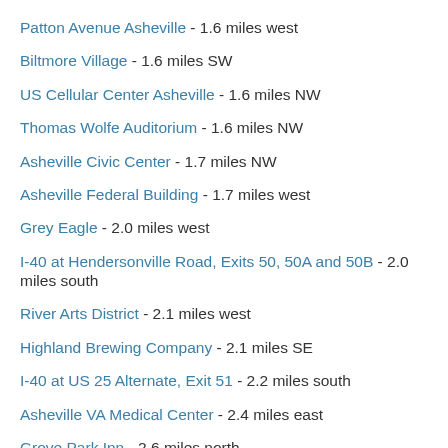Patton Avenue Asheville - 1.6 miles west
Biltmore Village - 1.6 miles SW
US Cellular Center Asheville - 1.6 miles NW
Thomas Wolfe Auditorium - 1.6 miles NW
Asheville Civic Center - 1.7 miles NW
Asheville Federal Building - 1.7 miles west
Grey Eagle - 2.0 miles west
I-40 at Hendersonville Road, Exits 50, 50A and 50B - 2.0 miles south
River Arts District - 2.1 miles west
Highland Brewing Company - 2.1 miles SE
I-40 at US 25 Alternate, Exit 51 - 2.2 miles south
Asheville VA Medical Center - 2.4 miles east
Grove Park Inn - 2.6 miles north